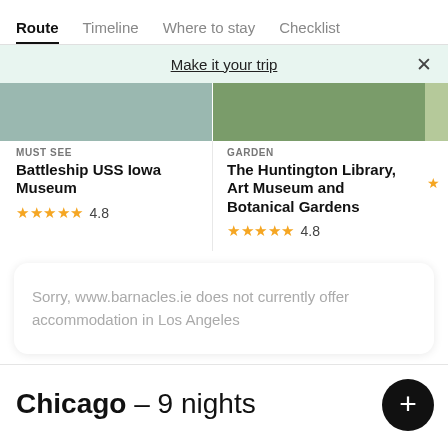Route | Timeline | Where to stay | Checklist
Make it your trip
[Figure (screenshot): Partial image of Battleship USS Iowa Museum]
MUST SEE
Battleship USS Iowa Museum
★★★★★ 4.8
[Figure (screenshot): Partial image of The Huntington Library]
GARDEN
The Huntington Library, Art Museum and Botanical Gardens
★★★★★ 4.8
Sorry, www.barnacles.ie does not currently offer accommodation in Los Angeles
Chicago – 9 nights